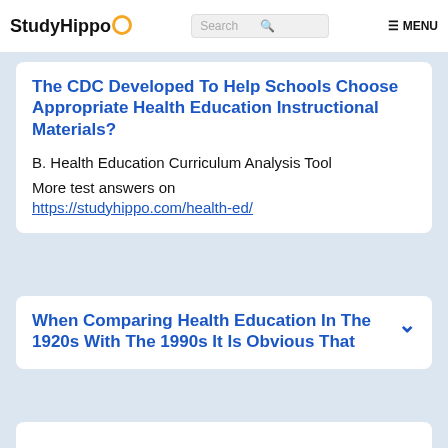StudyHippo | Search | MENU
The CDC Developed To Help Schools Choose Appropriate Health Education Instructional Materials?
B. Health Education Curriculum Analysis Tool
More test answers on https://studyhippo.com/health-ed/
When Comparing Health Education In The 1920s With The 1990s It Is Obvious That